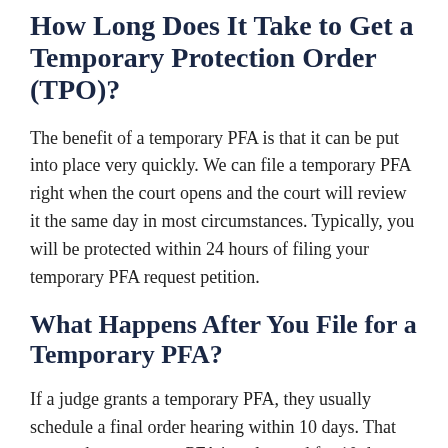How Long Does It Take to Get a Temporary Protection Order (TPO)?
The benefit of a temporary PFA is that it can be put into place very quickly. We can file a temporary PFA right when the court opens and the court will review it the same day in most circumstances. Typically, you will be protected within 24 hours of filing your temporary PFA request petition.
What Happens After You File for a Temporary PFA?
If a judge grants a temporary PFA, they usually schedule a final order hearing within 10 days. That means the temporary PFA is only good for 10 days